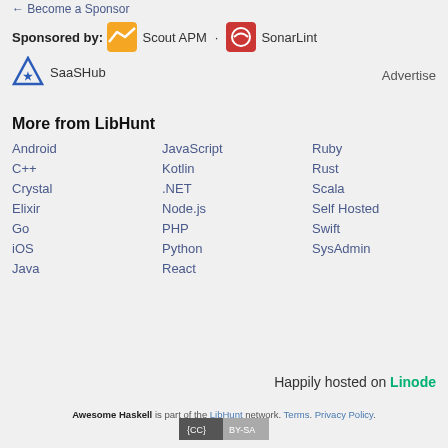← Become a Sponsor
Sponsored by: Scout APM · SonarLint · SaaSHub    Advertise
More from LibHunt
Android
JavaScript
Ruby
C++
Kotlin
Rust
Crystal
.NET
Scala
Elixir
Node.js
Self Hosted
Go
PHP
Swift
iOS
Python
SysAdmin
Java
React
Happily hosted on Linode
Awesome Haskell is part of the LibHunt network. Terms. Privacy Policy.